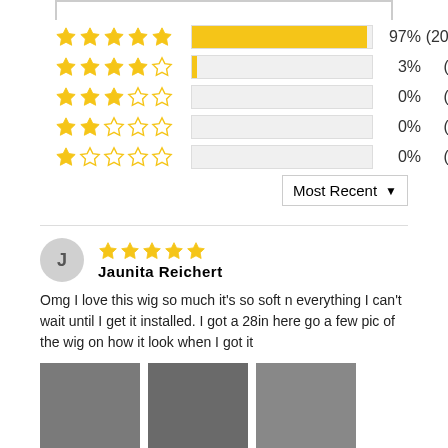[Figure (bar-chart): Star rating distribution]
Most Recent
Jaunita Reichert
Omg I love this wig so much it's so soft n everything I can't wait until I get it installed. I got a 28in here go a few pic of the wig on how it look when I got it
[Figure (photo): Three photos of a wig on a person's head showing dark straight hair]